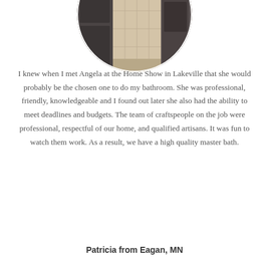[Figure (photo): Circular cropped photo of a bathroom shower with beige/tan tile walls and dark cabinetry]
I knew when I met Angela at the Home Show in Lakeville that she would probably be the chosen one to do my bathroom. She was professional, friendly, knowledgeable and I found out later she also had the ability to meet deadlines and budgets. The team of craftspeople on the job were professional, respectful of our home, and qualified artisans. It was fun to watch them work. As a result, we have a high quality master bath.
Patricia from Eagan, MN